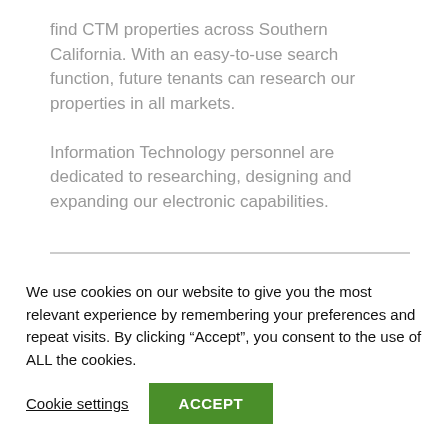find CTM properties across Southern California. With an easy-to-use search function, future tenants can research our properties in all markets.
Information Technology personnel are dedicated to researching, designing and expanding our electronic capabilities.
We use cookies on our website to give you the most relevant experience by remembering your preferences and repeat visits. By clicking “Accept”, you consent to the use of ALL the cookies.